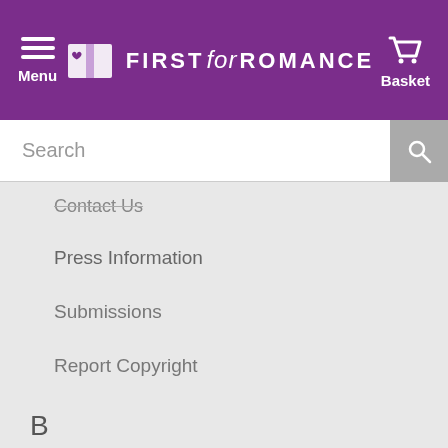[Figure (logo): First for Romance website header with purple background, hamburger menu icon on left, First for Romance logo in center, basket/cart icon on right]
Search
Contact Us
Press Information
Submissions
Report Copyright
B